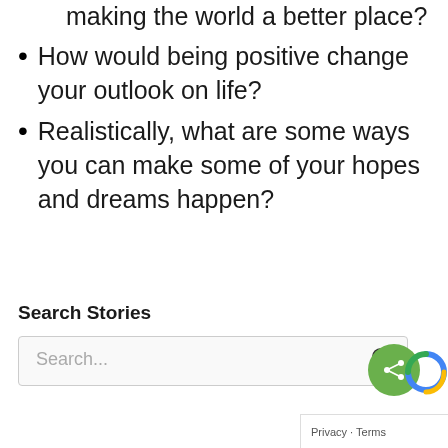making the world a better place?
How would being positive change your outlook on life?
Realistically, what are some ways you can make some of your hopes and dreams happen?
Search Stories
Search...